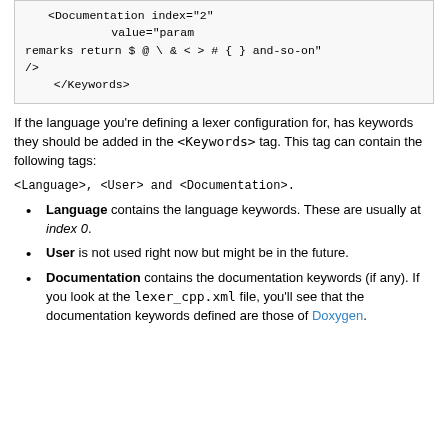<Documentation index="2"
                        value="param remarks return $ @ \ & < > # { } and-so-on"
/>
</Keywords>
If the language you're defining a lexer configuration for, has keywords they should be added in the <Keywords> tag. This tag can contain the following tags:
<Language>, <User> and <Documentation>.
Language contains the language keywords. These are usually at index 0.
User is not used right now but might be in the future.
Documentation contains the documentation keywords (if any). If you look at the lexer_cpp.xml file, you'll see that the documentation keywords defined are those of Doxygen.